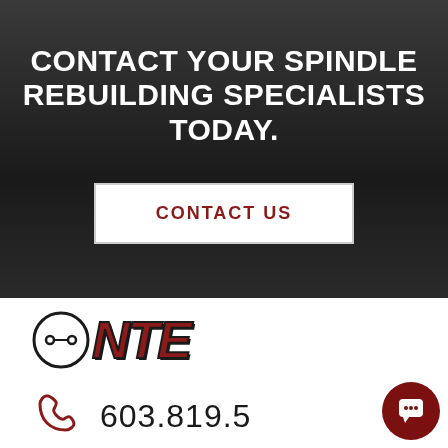CONTACT YOUR SPINDLE REBUILDING SPECIALISTS TODAY.
CONTACT US
[Figure (logo): NTE company logo with circular spindle graphic and bold red italic NTE letters with dark outline]
603.819.5